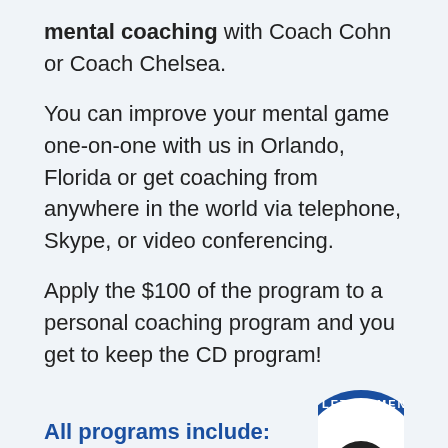mental coaching with Coach Cohn or Coach Chelsea.
You can improve your mental game one-on-one with us in Orlando, Florida or get coaching from anywhere in the world via telephone, Skype, or video conferencing.
Apply the $100 of the program to a personal coaching program and you get to keep the CD program!
All programs include:
[Figure (logo): Circular logo partially visible at bottom right, reads LETE'S MEN with an image in center]